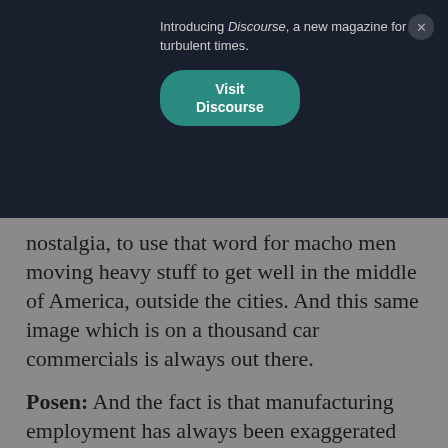Introducing Discourse, a new magazine for turbulent times. Visit Discourse
nostalgia, to use that word for macho men moving heavy stuff to get well in the middle of America, outside the cities. And this same image which is on a thousand car commercials is always out there.
Posen: And the fact is that manufacturing employment has always been exaggerated and it has always been disproportionately white males and is in decline around the world. So even economies like Japan and Germany, which run up manufacturing trade surpluses for years and years, decades, and decades, their share of